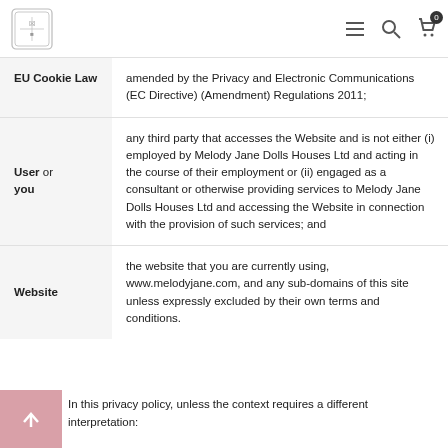Melody Jane Dolls Houses Ltd - navigation header
| Term | Definition |
| --- | --- |
| EU Cookie Law | amended by the Privacy and Electronic Communications (EC Directive) (Amendment) Regulations 2011; |
| User or you | any third party that accesses the Website and is not either (i) employed by Melody Jane Dolls Houses Ltd and acting in the course of their employment or (ii) engaged as a consultant or otherwise providing services to Melody Jane Dolls Houses Ltd and accessing the Website in connection with the provision of such services; and |
| Website | the website that you are currently using, www.melodyjane.com, and any sub-domains of this site unless expressly excluded by their own terms and conditions. |
In this privacy policy, unless the context requires a different interpretation: